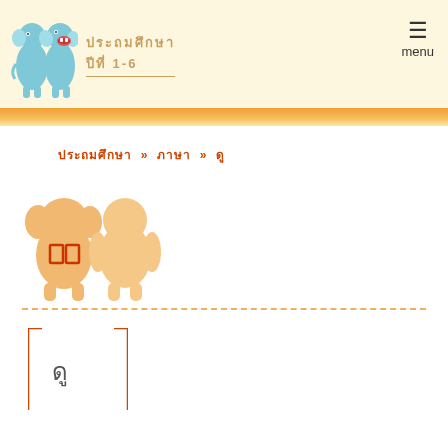ประถมศึกษา ปีที่ 1-6
menu
ประถมศึกษา » ภาษา » ดู
[Figure (illustration): Two cartoon elephant-like figures in orange/tan silhouette with red rectangular markings on chest, standing side by side]
ดู